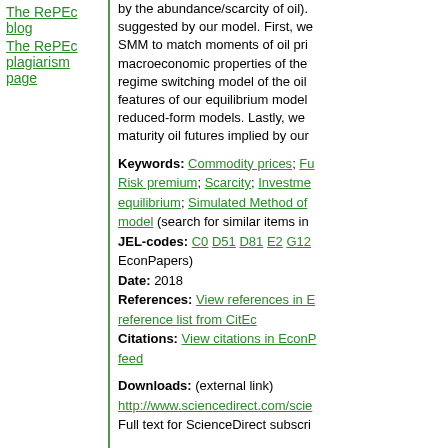The RePEc blog
The RePEc plagiarism page
by the abundance/scarcity of oil). suggested by our model. First, we SMM to match moments of oil pri macroeconomic properties of the regime switching model of the oil features of our equilibrium model reduced-form models. Lastly, we maturity oil futures implied by our
Keywords: Commodity prices; Fu Risk premium; Scarcity; Investme equilibrium; Simulated Method of model (search for similar items in JEL-codes: C0 D51 D81 E2 G12 EconPapers) Date: 2018 References: View references in E reference list from CitEc Citations: View citations in EconP feed
Downloads: (external link) http://www.sciencedirect.com/scie Full text for ScienceDirect subscri
Related works: Working Paper: Equilibrium Comr Investment and Non-Linear Techn This item may be available elsow